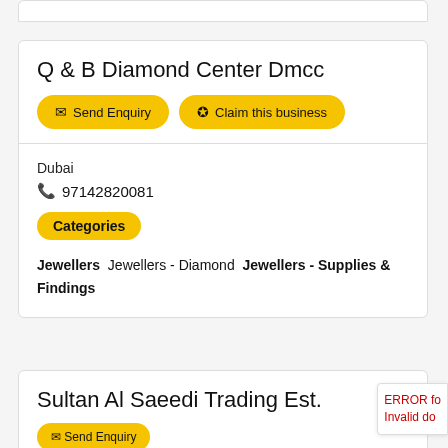Q & B Diamond Center Dmcc
Send Enquiry
Claim this business
Dubai
97142820081
Categories
Jewellers  Jewellers - Diamond  Jewellers - Supplies & Findings
Sultan Al Saeedi Trading Est.